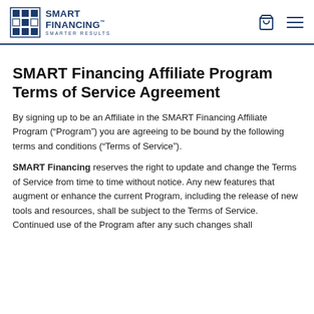SMART Financing — SMARTER RESULTS (logo header with navigation icons)
SMART Financing Affiliate Program Terms of Service Agreement
By signing up to be an Affiliate in the SMART Financing Affiliate Program (“Program”) you are agreeing to be bound by the following terms and conditions (“Terms of Service”).
SMART Financing reserves the right to update and change the Terms of Service from time to time without notice. Any new features that augment or enhance the current Program, including the release of new tools and resources, shall be subject to the Terms of Service. Continued use of the Program after any such changes shall